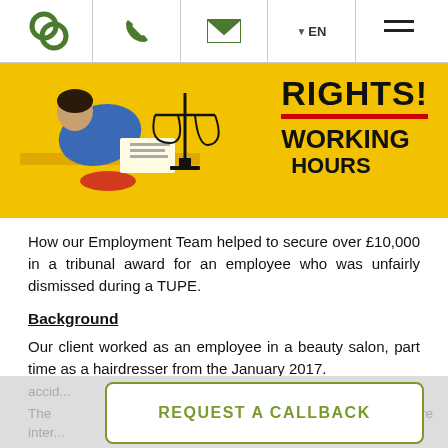Navigation bar with logo, phone icon, email icon, EN language selector, hamburger menu
[Figure (photo): Yellow background illustration showing a person at a desk from above, scales of justice drawing, and text reading RIGHTS! WORKING Hours in graffiti style]
How our Employment Team helped to secure over £10,000 in a tribunal award for an employee who was unfairly dismissed during a TUPE.
Background
Our client worked as an employee in a beauty salon, part time as a hairdresser from the January 2017.
client was on sick leave from the 28th August due to a car
REQUEST A CALLBACK